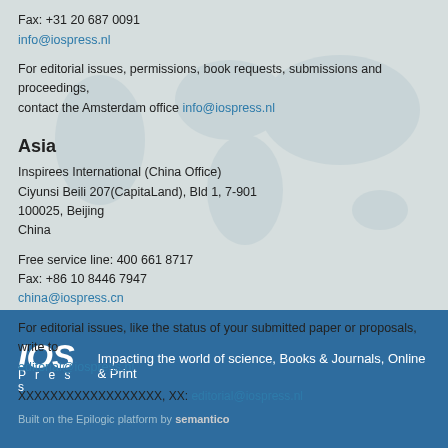Fax: +31 20 687 0091
info@iospress.nl
For editorial issues, permissions, book requests, submissions and proceedings, contact the Amsterdam office info@iospress.nl
Asia
Inspirees International (China Office)
Ciyunsi Beili 207(CapitaLand), Bld 1, 7-901
100025, Beijing
China
Free service line: 400 661 8717
Fax: +86 10 8446 7947
china@iospress.cn
For editorial issues, like the status of your submitted paper or proposals, write to editorial@iospress.nl
XXXXXXXXXXXXXXXXXX, XX: editorial@iospress.nl
[Figure (logo): IOS Press logo with tagline: Impacting the world of science, Books & Journals, Online & Print]
Built on the Epilogic platform by semantico